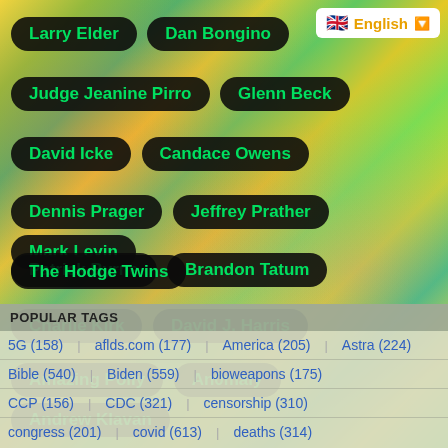[Figure (screenshot): Colorful psychedelic swirling background with green, yellow, orange, blue, pink tones]
Larry Elder
Dan Bongino
Judge Jeanine Pirro
Glenn Beck
David Icke
Candace Owens
Dennis Prager
Jeffrey Prather
Mark Levin
Patrick Byrne
Brandon Tatum
Charlie Kirk
David J. Harris
Amazing Polly
An0maly
Andrew Klavan
The Hodge Twins
POPULAR TAGS
5G (158)
aflds.com (177)
America (205)
Astra (224)
Bible (540)
Biden (559)
bioweapons (175)
CCP (156)
CDC (321)
censorship (310)
congress (201)
covid (613)
deaths (314)